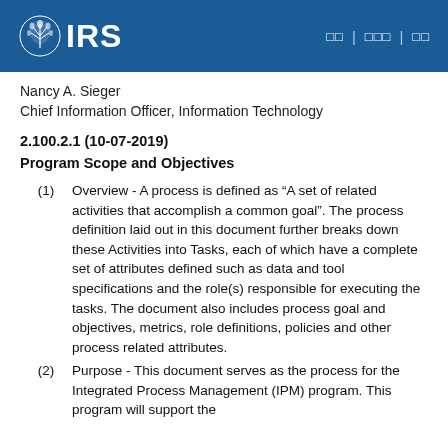IRS | □□ | □□□ | □□
Nancy A. Sieger
Chief Information Officer, Information Technology
2.100.2.1 (10-07-2019)
Program Scope and Objectives
(1) Overview - A process is defined as “A set of related activities that accomplish a common goal”. The process definition laid out in this document further breaks down these Activities into Tasks, each of which have a complete set of attributes defined such as data and tool specifications and the role(s) responsible for executing the tasks. The document also includes process goal and objectives, metrics, role definitions, policies and other process related attributes.
(2) Purpose - This document serves as the process for the Integrated Process Management (IPM) program. This program will support the